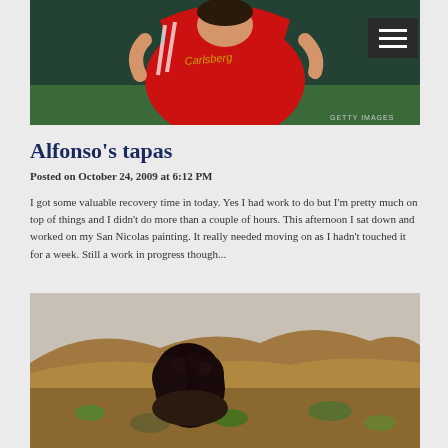[Figure (photo): A soccer player in a red Liverpool FC jersey with Carlsberg sponsor, pulling the shirt over their head in celebration. Getty Images watermark visible in bottom right.]
Alfonso's tapas
Posted on October 24, 2009 at 6:12 PM
I got some valuable recovery time in today. Yes I had work to do but I'm pretty much on top of things and I didn't do more than a couple of hours. This afternoon I sat down and worked on my San Nicolas painting. It really needed moving on as I hadn't touched it for a week. Still a work in progress though...
[Figure (photo): A painting showing a figure with dark curly hair from behind, with a landscape background featuring hills and warm earth tones — the San Nicolas painting mentioned in the text.]